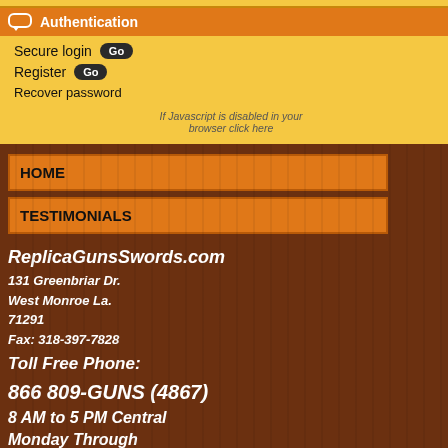Authentication
Secure login  Go
Register  Go
Recover password
If Javascript is disabled in your browser click here
HOME
TESTIMONIALS
ReplicaGunsSwords.com
131 Greenbriar Dr.
West Monroe La.
71291
Fax: 318-397-7828
Toll Free Phone:
866 809-GUNS (4867)
8 AM to 5 PM Central
Monday Through
Friday
[Figure (photo): Miniature cannon replica with spoked wheels, top view, antique finish]
See details
Our Miniatu… 2.75 revolvi… wheel and a… authenticity…
Our price …
Quantity
Buy Now
[Figure (photo): Miniature cannon replica, side profile view, bronze barrel, spoked wheels]
See details
Miniature …
SKU: 22-42…
Miniature C… miniature N… with 2.75 re… lb.
Our price …
Quantity
Buy Now
[Figure (photo): Miniature cannon or artillery piece, smaller scale, dark metal finish]
Miniature …
SKU: 22-42…
MINIATURE… reproductio… with workin… 5"…